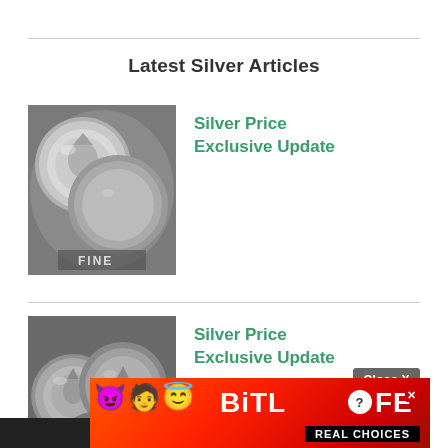Latest Silver Articles
[Figure (photo): Close-up photograph of silver coins stacked on top of each other with text 'FINE' visible]
Silver Price Exclusive Update
[Figure (photo): Close-up photograph of silver coins arranged together]
Silver Price Exclusive Update
[Figure (other): BitLife advertisement banner with emoji characters and 'REAL CHOICES' text on red background]